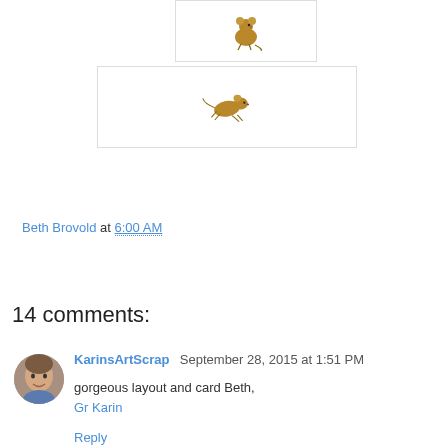[Figure (illustration): Small brown mouse illustration in a white box with border, sitting position]
[Figure (illustration): Small brown mouse illustration in a wide white box with border, running position]
Beth Brovold at 6:00 AM
Share
14 comments:
[Figure (photo): Profile photo of commenter KarinsArtScrap, a woman with short hair]
KarinsArtScrap September 28, 2015 at 1:51 PM
gorgeous layout and card Beth,
Gr Karin
Reply